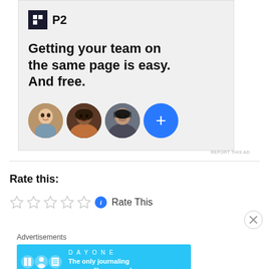[Figure (illustration): P2 app advertisement with logo, headline text 'Getting your team on the same page is easy. And free.', and three circular avatar photos plus a blue plus button]
REPORT THIS AD
Rate this:
[Figure (other): Five empty star rating icons followed by a blue info circle and 'Rate This' text]
[Figure (illustration): DAY ONE journaling app advertisement on blue background with text 'The only journaling app you'll ever need.']
Advertisements